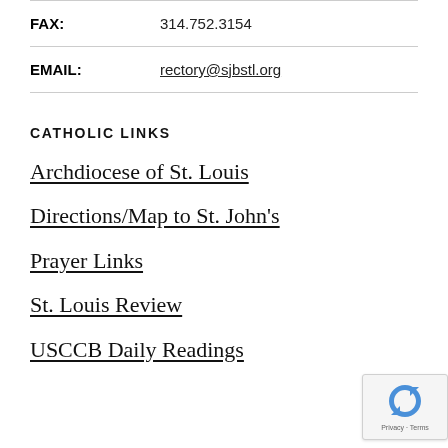FAX: 314.752.3154
EMAIL: rectory@sjbstl.org
CATHOLIC LINKS
Archdiocese of St. Louis
Directions/Map to St. John's
Prayer Links
St. Louis Review
USCCB Daily Readings
[Figure (logo): Google reCAPTCHA badge with recycle-arrow icon and 'Privacy - Terms' text]